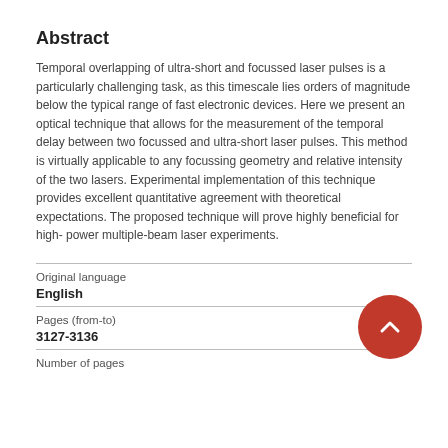Abstract
Temporal overlapping of ultra-short and focussed laser pulses is a particularly challenging task, as this timescale lies orders of magnitude below the typical range of fast electronic devices. Here we present an optical technique that allows for the measurement of the temporal delay between two focussed and ultra-short laser pulses. This method is virtually applicable to any focussing geometry and relative intensity of the two lasers. Experimental implementation of this technique provides excellent quantitative agreement with theoretical expectations. The proposed technique will prove highly beneficial for high-power multiple-beam laser experiments.
Original language
English
Pages (from-to)
3127-3136
Number of pages